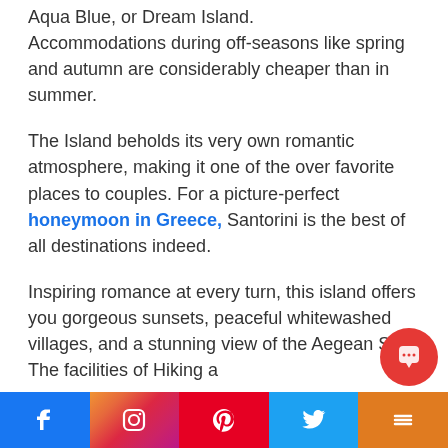Aqua Blue, or Dream Island. Accommodations during off-seasons like spring and autumn are considerably cheaper than in summer.
The Island beholds its very own romantic atmosphere, making it one of the over favorite places to couples. For a picture-perfect honeymoon in Greece, Santorini is the best of all destinations indeed.
Inspiring romance at every turn, this island offers you gorgeous sunsets, peaceful whitewashed villages, and a stunning view of the Aegean Sea. The facilities of Hiking a…
Facebook | Instagram | Pinterest | Twitter | More